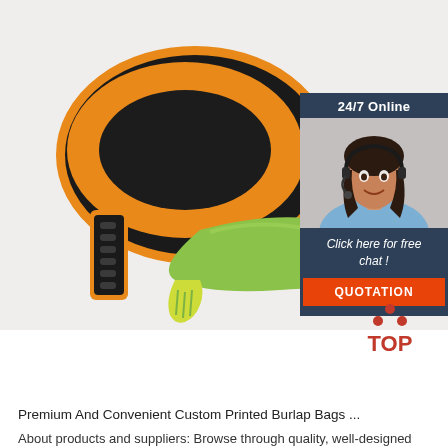[Figure (photo): Product photo of two silicone wristbands - one orange/black and one green/yellow - on white background, with a customer service overlay showing a woman with headset, '24/7 Online' text, 'Click here for free chat!' and an orange QUOTATION button]
[Figure (logo): TOP logo with red dots arranged in a triangle above the word TOP in red]
Premium And Convenient Custom Printed Burlap Bags ...
About products and suppliers: Browse through quality, well-designed